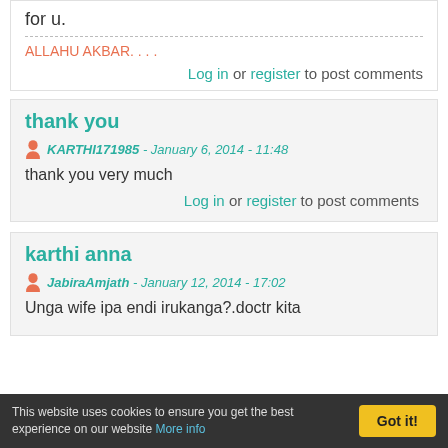for u.
ALLAHU AKBAR. . . .
Log in or register to post comments
thank you
KARTHI171985 - January 6, 2014 - 11:48
thank you very much
Log in or register to post comments
karthi anna
JabiraAmjath - January 12, 2014 - 17:02
Unga wife ipa endi irukanga?.doctr kita
This website uses cookies to ensure you get the best experience on our website More info